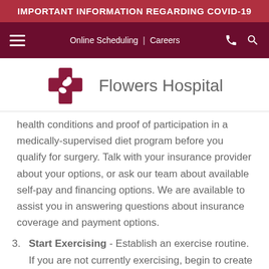IMPORTANT INFORMATION REGARDING COVID-19
[Figure (logo): Flowers Hospital logo with red cross icon and hospital name]
health conditions and proof of participation in a medically-supervised diet program before you qualify for surgery. Talk with your insurance provider about your options, or ask our team about available self-pay and financing options. We are available to assist you in answering questions about insurance coverage and payment options.
3. Start Exercising - Establish an exercise routine. If you are not currently exercising, begin to create a consistent physical activity plan that fits your ability. Start small with short walks, chair exercises or small